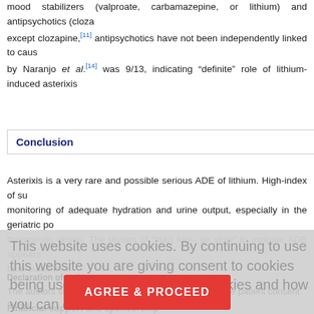mood stabilizers (valproate, carbamazepine, or lithium) and antipsychotics (cloza... except clozapine,[11] antipsychotics have not been independently linked to caus... by Naranjo et al.[14] was 9/13, indicating "definite" role of lithium-induced asterixis...
Conclusion
Asterixis is a very rare and possible serious ADE of lithium. High-index of su... monitoring of adequate hydration and urine output, especially in the geriatric po... therapeutic doses. The dictum of "start low– go slow" to mitigate ADE appears ... fatal outcomes.
Declaration of patient consent.
The authors state that they have obtained all appropriate patient consent forms... information to be reported in the journal. The patient understands that his name... made to conceal his identity, but anonymity cannot be guaranteed.
Financial support and sponsorship
Nil.